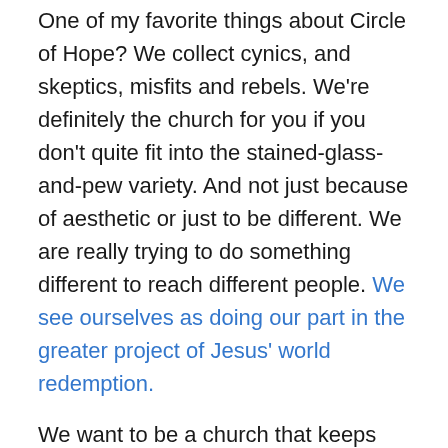One of my favorite things about Circle of Hope? We collect cynics, and skeptics, misfits and rebels. We're definitely the church for you if you don't quite fit into the stained-glass-and-pew variety. And not just because of aesthetic or just to be different. We are really trying to do something different to reach different people. We see ourselves as doing our part in the greater project of Jesus' world redemption.

We want to be a church that keeps moving and listening to where the Spirit is leading. One of our pastors said it this way: we're not done yet. We want to keep going and keep changing. That adaptability and flexibility allows us to learn from